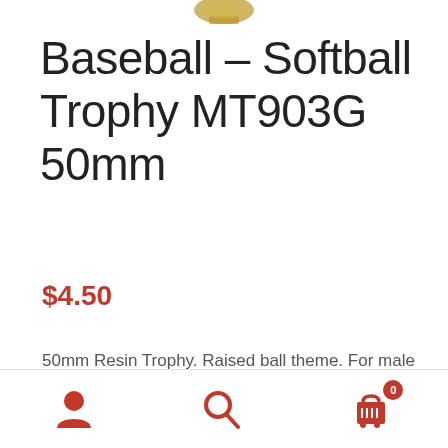[Figure (photo): Partial trophy image at top of page]
Baseball – Softball Trophy MT903G 50mm
$4.50
50mm Resin Trophy. Raised ball theme. For male or female.
1
Add to cart
Navigation bar with user, search, and cart icons